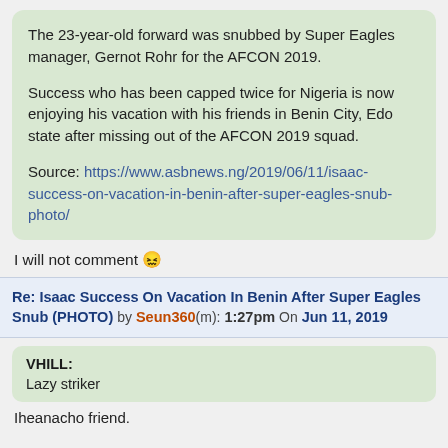The 23-year-old forward was snubbed by Super Eagles manager, Gernot Rohr for the AFCON 2019.

Success who has been capped twice for Nigeria is now enjoying his vacation with his friends in Benin City, Edo state after missing out of the AFCON 2019 squad.

Source: https://www.asbnews.ng/2019/06/11/isaac-success-on-vacation-in-benin-after-super-eagles-snub-photo/
I will not comment 😖
Re: Isaac Success On Vacation In Benin After Super Eagles Snub (PHOTO) by Seun360(m): 1:27pm On Jun 11, 2019
VHILL:
Lazy striker
Iheanacho friend.